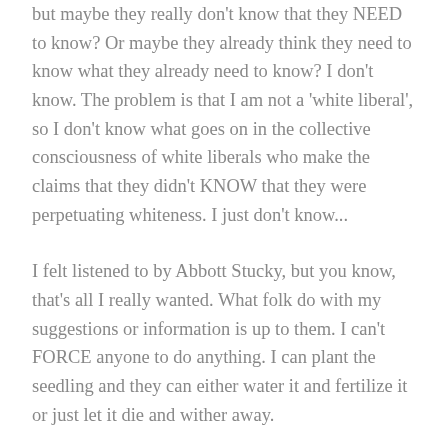but maybe they really don't know that they NEED to know? Or maybe they already think they need to know what they already need to know? I don't know. The problem is that I am not a 'white liberal', so I don't know what goes on in the collective consciousness of white liberals who make the claims that they didn't KNOW that they were perpetuating whiteness. I just don't know...
I felt listened to by Abbott Stucky, but you know, that's all I really wanted. What folk do with my suggestions or information is up to them. I can't FORCE anyone to do anything. I can plant the seedling and they can either water it and fertilize it or just let it die and wither away.
I said what I wanted to say to the abbott, and that